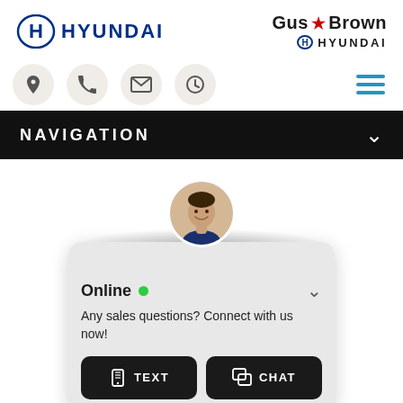[Figure (logo): Hyundai brand logo with H emblem and HYUNDAI text in blue]
[Figure (logo): Gus Brown Hyundai dealership logo with maple leaf and Hyundai sub-logo]
[Figure (infographic): Navigation icon bar with location, phone, email, clock icons and hamburger menu]
NAVIGATION
[Figure (screenshot): Live chat widget popup with agent avatar, Online status indicator, text reading 'Any sales questions? Connect with us now!' and TEXT and CHAT buttons]